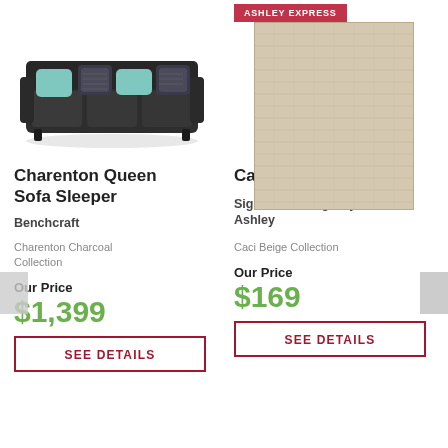[Figure (photo): Dark charcoal sofa with teal and patterned throw pillows — Charenton Queen Sofa Sleeper product photo]
Charenton Queen Sofa Sleeper
Benchcraft
Charenton Charcoal Collection
Our Price
$1,399
SEE DETAILS
[Figure (photo): Beige woven area rug — Caci 5' X 7' Rug product photo with Ashley Express badge]
Caci 5' X 7' Rug
Signature Design By Ashley
Caci Beige Collection
Our Price
$169
SEE DETAILS